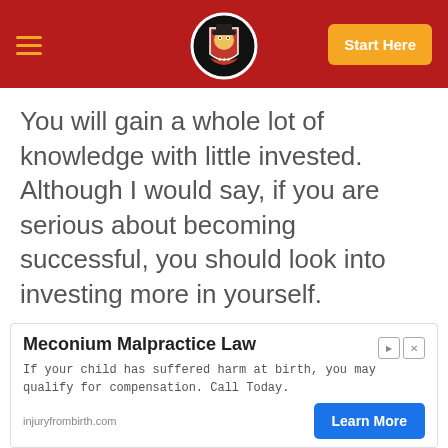Start Here
You will gain a whole lot of knowledge with little invested. Although I would say, if you are serious about becoming successful, you should look into investing more in yourself.
[Figure (other): Green button with text 'Visit Legendary Marketer']
[Figure (other): Advertisement for Meconium Malpractice Law - injuryfrombirth.com with Learn More button]